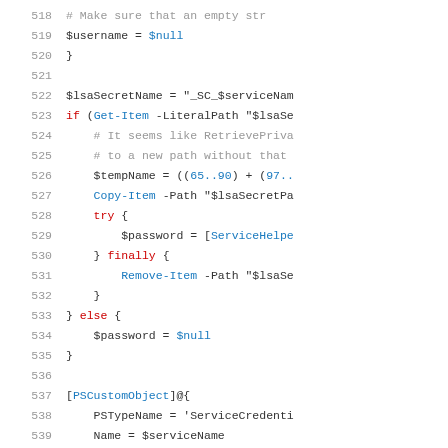Code listing lines 518-539, PowerShell source code